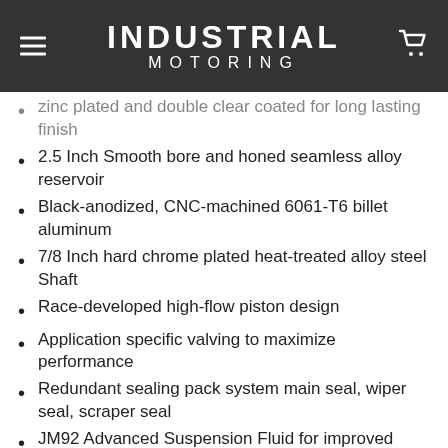INDUSTRIAL MOTORING
zinc plated and double clear coated for long lasting finish
2.5 Inch Smooth bore and honed seamless alloy reservoir
Black-anodized, CNC-machined 6061-T6 billet aluminum
7/8 Inch hard chrome plated heat-treated alloy steel Shaft
Race-developed high-flow piston design
Application specific valving to maximize performance
Redundant sealing pack system main seal, wiper seal, scraper seal
JM92 Advanced Suspension Fluid for improved performance at variable temperatures